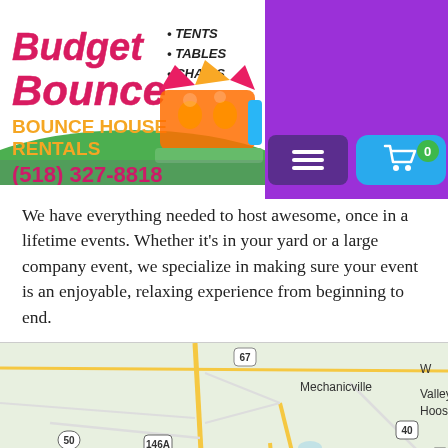[Figure (logo): Budget Bounce logo with bounce house illustration, text 'Budget Bounce BOUNCE HOUSE RENTALS', bullet list 'TENTS TABLES CHAIRS', phone number (518) 327-8818, and purple/green background]
We have everything needed to host awesome, once in a lifetime events. Whether it's in your yard or a large company event, we specialize in making sure your event is an enjoyable, relaxing experience from beginning to end.
[Figure (map): Google Maps screenshot showing area around Mechanicville, Valley Falls, East Glenville, Hoosick, Schenectady, Amsterdam area with route numbers 67, 50, 146A, 146, 40, 4, 87, 9, 7]